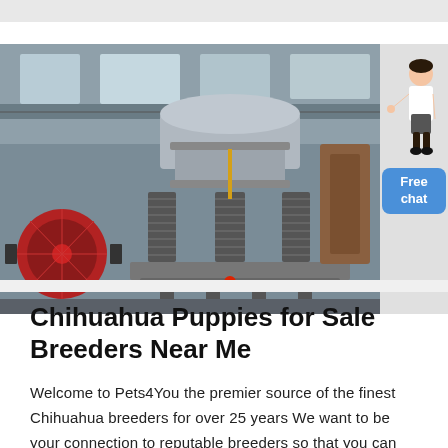[Figure (photo): Photograph of a large industrial cone crusher machine with spring coils and red wheel in a factory setting. A woman figure and 'Free chat' button overlay on the right side.]
Chihuahua Puppies for Sale Breeders Near Me
Welcome to Pets4You the premier source of the finest Chihuahua breeders for over 25 years We want to be your connection to reputable breeders so that you can find your perfect Chihuahua puppy for sale.Most of our